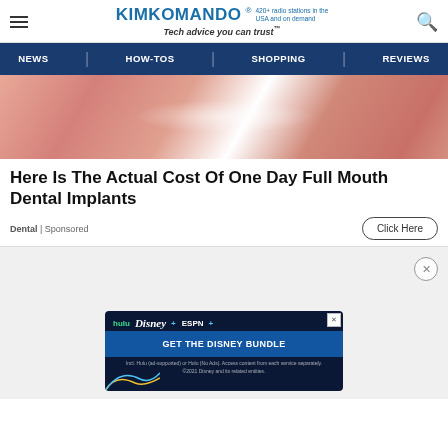KIMKOMANDO® 420+ radio stations in the USA and on demand Tech advice you can trust™
[Figure (screenshot): Navigation bar with NEWS, HOW-TOS, SHOPPING, REVIEWS on dark blue background]
[Figure (photo): Close-up macro photo of glossy lips/skin texture in pink/salmon tones]
Here Is The Actual Cost Of One Day Full Mouth Dental Implants
Dental | Sponsored
Click Here
[Figure (screenshot): Disney Bundle advertisement: hulu, Disney+, ESPN+ logos with GET THE DISNEY BUNDLE CTA button]